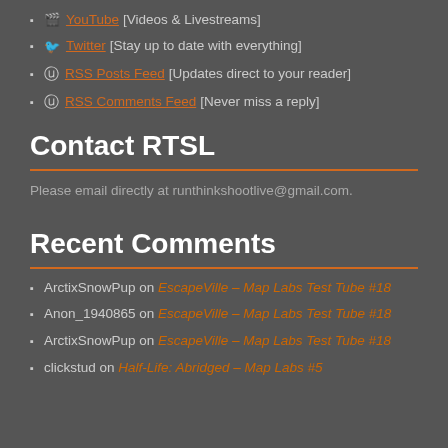YouTube [Videos & Livestreams]
Twitter [Stay up to date with everything]
RSS Posts Feed [Updates direct to your reader]
RSS Comments Feed [Never miss a reply]
Contact RTSL
Please email directly at runthinkshootlive@gmail.com.
Recent Comments
ArctixSnowPup on EscapeVille – Map Labs Test Tube #18
Anon_1940865 on EscapeVille – Map Labs Test Tube #18
ArctixSnowPup on EscapeVille – Map Labs Test Tube #18
clickstud on Half-Life: Abridged – Map Labs #5